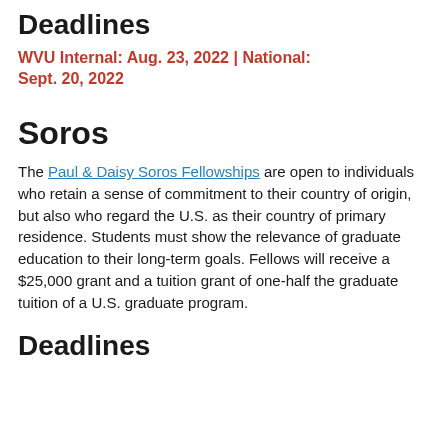Deadlines
WVU Internal: Aug. 23, 2022 | National: Sept. 20, 2022
Soros
The Paul & Daisy Soros Fellowships are open to individuals who retain a sense of commitment to their country of origin, but also who regard the U.S. as their country of primary residence. Students must show the relevance of graduate education to their long-term goals. Fellows will receive a $25,000 grant and a tuition grant of one-half the graduate tuition of a U.S. graduate program.
Deadlines